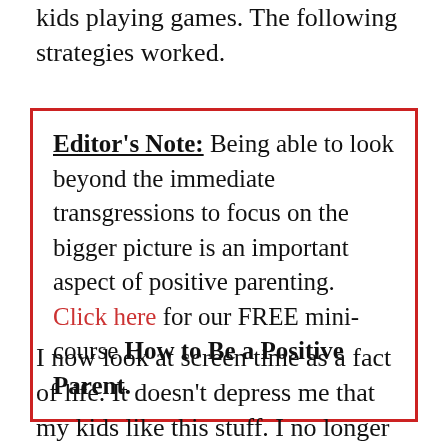kids playing games. The following strategies worked.
Editor's Note: Being able to look beyond the immediate transgressions to focus on the bigger picture is an important aspect of positive parenting. Click here for our FREE mini-course How to Be a Positive Parent.
I now look at screen time as a fact of life. It doesn't depress me that my kids like this stuff. I no longer believe that loving Minecraft means you are a lazy and dull